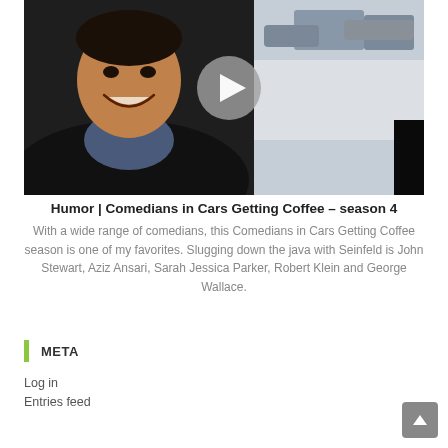[Figure (photo): A man smiling in a car or coffee shop, with a video play button overlay. Background shows parked cars through windows.]
Humor | Comedians in Cars Getting Coffee – season 4
With a wide range of comedians, this Comedians in Cars Getting Coffee season is one of my favorites. Slugging down the java with Seinfeld is John Stewart, Aziz Ansari, Sarah Jessica Parker, Robert Klein and George Wallace.
META
Log in
Entries feed